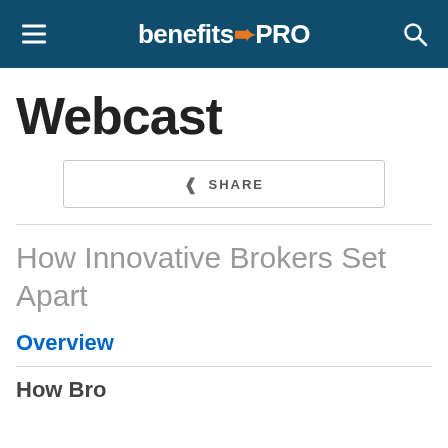benefits➨PRO
Webcast
< SHARE
How Innovative Brokers Set Apart
Overview
How Bro...